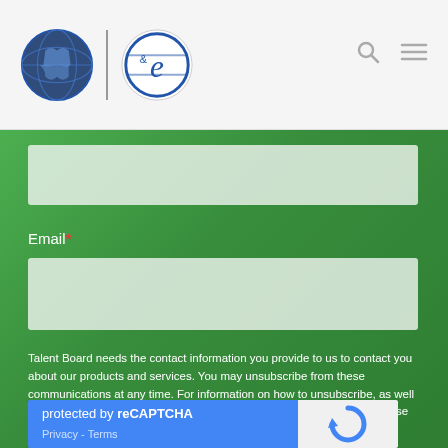Talent Board / e logo header with navigation icons
Email*
Talent Board needs the contact information you provide to us to contact you about our products and services. You may unsubscribe from these communications at any time. For information on how to unsubscribe, as well as our privacy practices and commitment to protecting your privacy, please review our Privacy Policy.
[Figure (other): reCAPTCHA widget with blue background showing 'protected by reCAPTCHA' text, Privacy and Terms links, and reCAPTCHA logo icon on grey background]